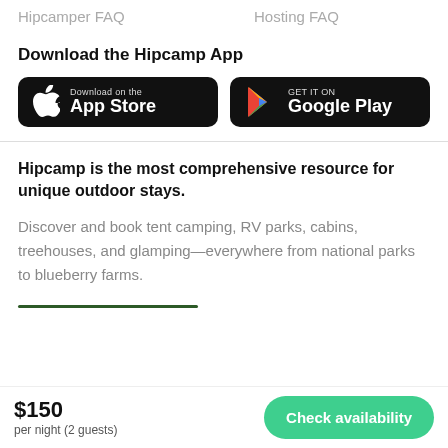Hipcamper FAQ    Hosting FAQ
Download the Hipcamp App
[Figure (other): App Store and Google Play download buttons on black rounded-rectangle backgrounds]
Hipcamp is the most comprehensive resource for unique outdoor stays.
Discover and book tent camping, RV parks, cabins, treehouses, and glamping—everywhere from national parks to blueberry farms.
$150
per night (2 guests)
Check availability